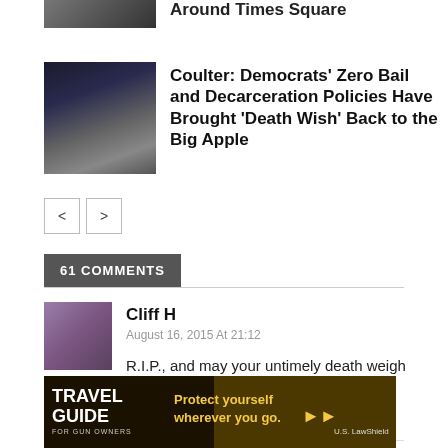[Figure (photo): Partial thumbnail of an article about Times Square at the top]
Around Times Square
[Figure (photo): Thumbnail showing cars at night with police lights]
Coulter: Democrats' Zero Bail and Decarceration Policies Have Brought 'Death Wish' Back to the Big Apple
< >
61 COMMENTS
[Figure (photo): Avatar photo of commenter Cliff H]
Cliff H
August 16, 2015 At 21:12
R.I.P., and may your untimely death weigh heavily on Morgan's mind.
Reply
[Figure (photo): Advertisement banner for Travel Guide for Gun Owners / U.S. LawShield: Protect yourself wherever you go.]